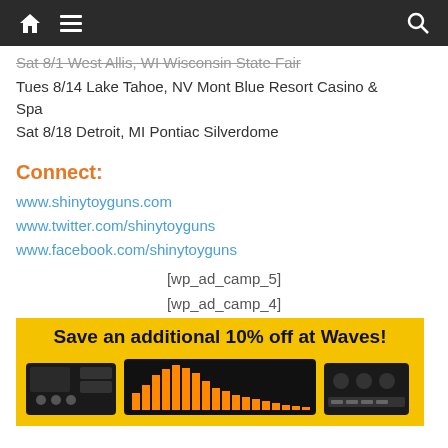Navigation bar with home, menu, and search icons
Sat 8/1 West Allis, WI Wisconsin State Fair
Tues 8/14 Lake Tahoe, NV Mont Blue Resort Casino & Spa
Sat 8/18 Detroit, MI Pontiac Silverdome
Connect:
www.shinytoyguns.com
www.twitter.com/shinytoyguns
www.facebook.com/shinytoyguns
[wp_ad_camp_5]
[wp_ad_camp_4]
[Figure (other): Advertisement banner with yellow background reading 'Save an additional 10% off at Waves!' with synthesizer/audio equipment image below]